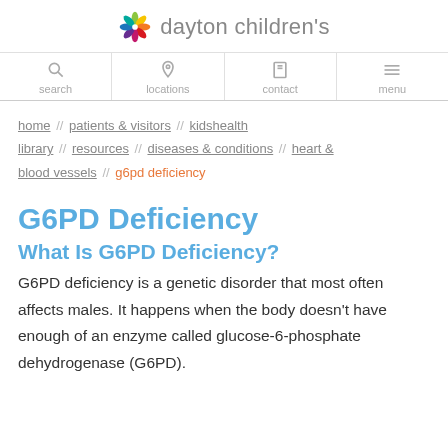dayton children's
search | locations | contact | menu
home // patients & visitors // kidshealth library // resources // diseases & conditions // heart & blood vessels // g6pd deficiency
G6PD Deficiency
What Is G6PD Deficiency?
G6PD deficiency is a genetic disorder that most often affects males. It happens when the body doesn't have enough of an enzyme called glucose-6-phosphate dehydrogenase (G6PD).